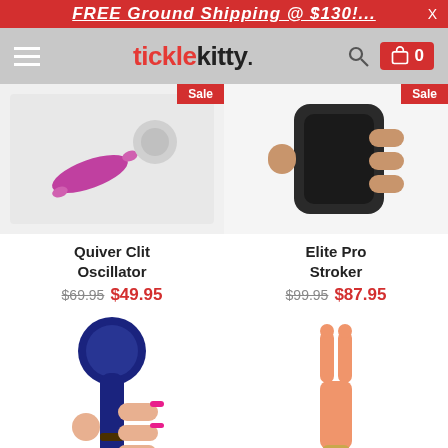FREE Ground Shipping @ $130! ... X
ticklekitty. [search] [cart 0]
[Figure (photo): Quiver Clit Oscillator product photo with Sale badge, pink adult toy on white background]
Quiver Clit Oscillator
$69.95 $49.95
[Figure (photo): Elite Pro Stroker product photo with Sale badge, black handheld device held in hand]
Elite Pro Stroker
$99.95 $87.95
[Figure (photo): Navy blue wand massager held in hand with pink nails]
[Figure (photo): Peach/salmon colored fork-shaped vibrator with gold base]